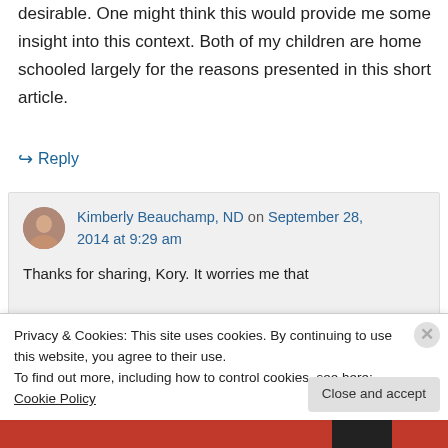desirable. One might think this would provide me some insight into this context. Both of my children are home schooled largely for the reasons presented in this short article.
↪ Reply
Kimberly Beauchamp, ND on September 28, 2014 at 9:29 am
Thanks for sharing, Kory. It worries me that
Privacy & Cookies: This site uses cookies. By continuing to use this website, you agree to their use.
To find out more, including how to control cookies, see here: Cookie Policy